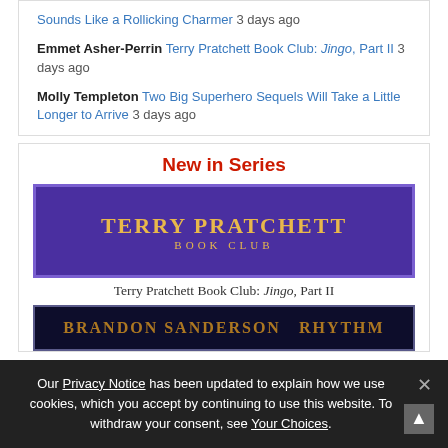Sounds Like a Rollicking Charmer 3 days ago
Emmet Asher-Perrin Terry Pratchett Book Club: Jingo, Part II 3 days ago
Molly Templeton Two Big Superhero Sequels Will Take a Little Longer to Arrive 3 days ago
New in Series
[Figure (illustration): Terry Pratchett Book Club banner with gold text on purple background]
Terry Pratchett Book Club: Jingo, Part II
[Figure (illustration): Brandon Sanderson Rhythm of War or similar fantasy book series banner, partially visible]
Our Privacy Notice has been updated to explain how we use cookies, which you accept by continuing to use this website. To withdraw your consent, see Your Choices.